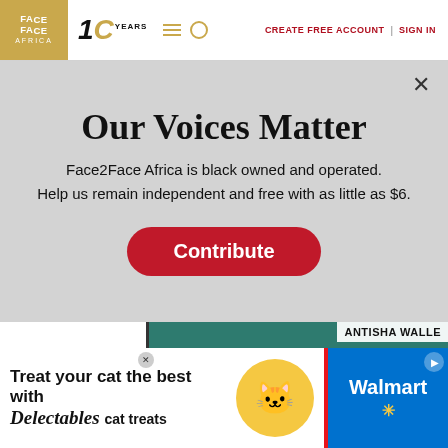Face2Face Africa | 10 YEARS | CREATE FREE ACCOUNT | SIGN IN
Our Voices Matter
Face2Face Africa is black owned and operated. Help us remain independent and free with as little as $6.
Contribute
SUBCRIPTIONS
ANTISHA WALLE
We use cookies to collect and analyse information on site performance and usage, and to enhance and customise content and advertising content. By Clicking "Accept" you clicking into your product
[Figure (advertisement): Walmart advertisement for Delectables cat treats featuring a cat and Walmart branding on red/white/blue background. Text: Treat your cat the best with Delectables cat treats, Walmart logo.]